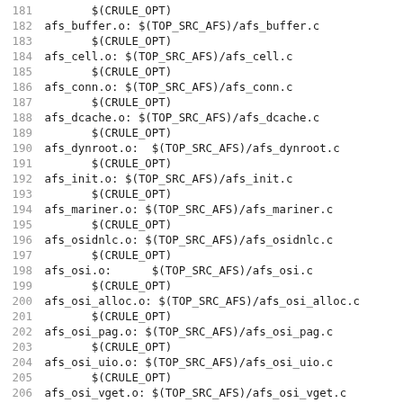Makefile code listing lines 181-212, showing build rules for AFS object files using $(TOP_SRC_AFS) and $(CRULE_OPT)/(CRULE_NOOPT) macros.